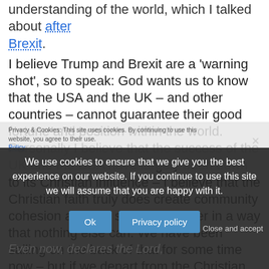understanding of the world, which I talked about after Brexit.
I believe Trump and Brexit are a 'warning shot', so to speak: God wants us to know that the USA and the UK – and other countries – cannot guarantee their good fortune and position within the world. Personally I believe that the success of the UK and the USA have largely been down to its Christian influence – I believe that the Christian faith truly does create community cohesion and knit society together in a way that nothing else can. We have been sailing on the back of that for some time now – but if we depart from the Christian faith, our status may well be taken away as
Privacy & Cookies: This site uses cookies. By continuing to use this website, you agree to their use. ... Policy
We use cookies to ensure that we give you the best experience on our website. If you continue to use this site we will assume that you are happy with it.
Ok   Privacy policy   Close and accept
Even now, declares the Lord,